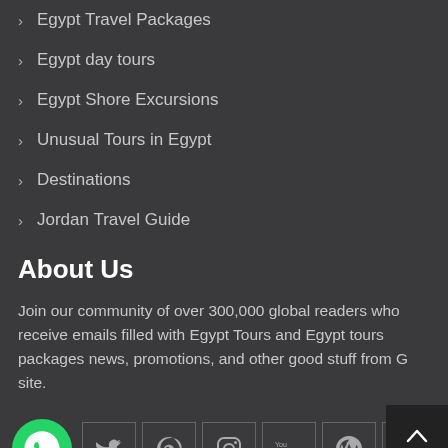Egypt Travel Packages
Egypt day tours
Egypt Shore Excursions
Unusual Tours in Egypt
Destinations
Jordan Travel Guide
About Us
Join our community of over 300,000 global readers who receive emails filled with Egypt Tours and Egypt tours packages news, promotions, and other good stuff from G site.
[Figure (infographic): Social media icons row: WhatsApp (green circle), Twitter, Pinterest, Instagram, YouTube, WordPress, and an empty box. Back-to-top button with upward chevron in bottom right.]